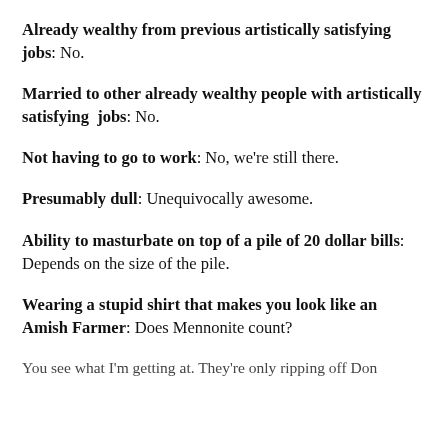Already wealthy from previous artistically satisfying jobs: No.
Married to other already wealthy people with artistically satisfying jobs: No.
Not having to go to work: No, we're still there.
Presumably dull: Unequivocally awesome.
Ability to masturbate on top of a pile of 20 dollar bills: Depends on the size of the pile.
Wearing a stupid shirt that makes you look like an Amish Farmer: Does Mennonite count?
You see what I'm getting at. They're only ripping off Don